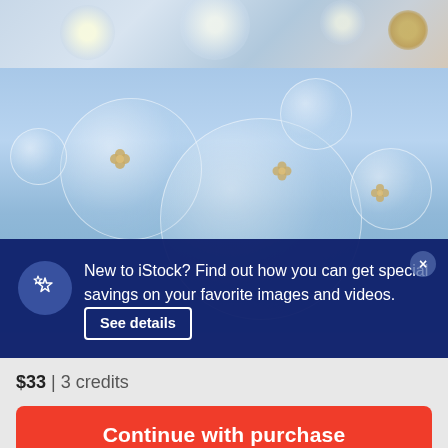[Figure (photo): Top partial strip of a blurred bokeh background with golden/amber decorative element on the right and soft light bokeh circles on a pale blue-grey background.]
[Figure (photo): Light blue background with translucent circular bubbles containing pearl/gold flower ornaments inside them. Three main bubbles visible with small golden floral decorations inside.]
New to iStock? Find out how you can get special savings on your favorite images and videos. See details
$33 | 3 credits
Continue with purchase